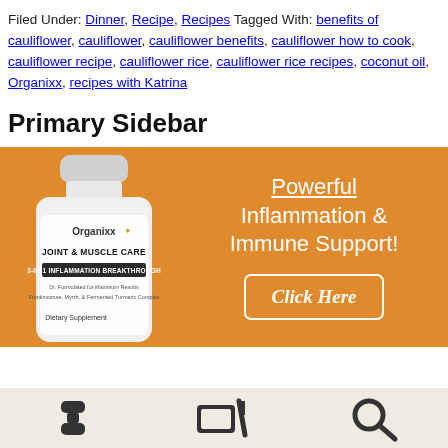Filed Under: Dinner, Recipe, Recipes Tagged With: benefits of cauliflower, cauliflower, cauliflower benefits, cauliflower how to cook, cauliflower recipe, cauliflower rice, cauliflower rice recipes, coconut oil, Organixx, recipes with Katrina
Primary Sidebar
[Figure (photo): Advertisement banner with orange background showing a bottle of Organixx Joint & Muscle Care supplement (3-in-1 Inflammation Breakthrough, Dietary Supplement) on the left and text 'Powerful Inflammation & Immune Support!' with a 'Click Here' button on the right.]
[Figure (illustration): Bottom strip with light beige background showing three dark icons: a dumbbell/hourglass shape, a cutting board with knife, and a magnifying glass.]